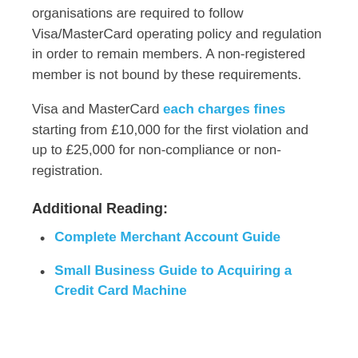organisations are required to follow Visa/MasterCard operating policy and regulation in order to remain members. A non-registered member is not bound by these requirements.
Visa and MasterCard each charges fines starting from £10,000 for the first violation and up to £25,000 for non-compliance or non-registration.
Additional Reading:
Complete Merchant Account Guide
Small Business Guide to Acquiring a Credit Card Machine